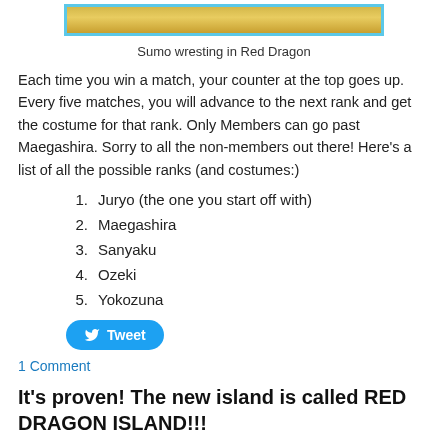[Figure (illustration): Sumo wrestling scene in Red Dragon game, golden image with blue border]
Sumo wresting in Red Dragon
Each time you win a match, your counter at the top goes up. Every five matches, you will advance to the next rank and get the costume for that rank. Only Members can go past Maegashira. Sorry to all the non-members out there! Here's a list of all the possible ranks (and costumes:)
Juryo (the one you start off with)
Maegashira
Sanyaku
Ozeki
Yokozuna
Tweet
1 Comment
It's proven! The new island is called RED DRAGON ISLAND!!!